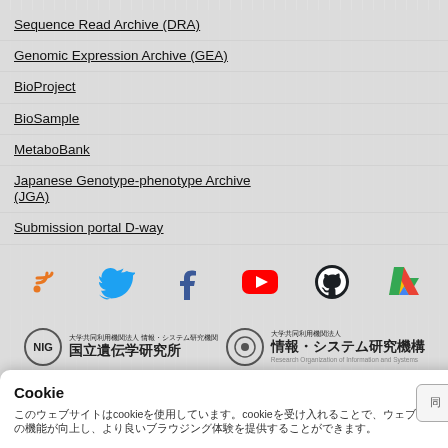Sequence Read Archive (DRA)
Genomic Expression Archive (GEA)
BioProject
BioSample
MetaboBank
Japanese Genotype-phenotype Archive (JGA)
Submission portal D-way
[Figure (infographic): Social media icons row: RSS feed (orange), Twitter (blue bird), Facebook (blue f), YouTube (red play), GitHub (black octocat), Google Drive (color triangle)]
[Figure (logo): NIG (National Institute of Genetics) logo with Japanese text 国立遺伝学研究所 and ROIS 情報・システム研究機構 logo]
[Figure (logo): Portal logo, NBDC logo (blue text), DBCLS logo (blue text)]
Cookie
このウェブサイトはcookieを使用しています。cookieを受け入れることで、ウェブサイトの機能が向上し、より良いブラウジング体験を提供することができます。